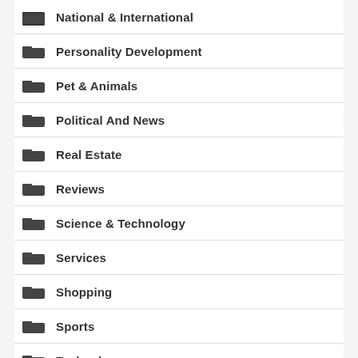National & International
Personality Development
Pet & Animals
Political And News
Real Estate
Reviews
Science & Technology
Services
Shopping
Sports
Technology
Tips And Guide
Toppers Interview